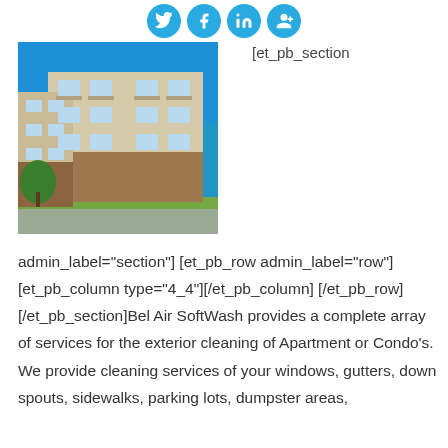[Figure (infographic): Four social media icon buttons (Twitter, Facebook, LinkedIn, Google+) in circular cyan/blue style at top center]
[Figure (photo): Exterior photo of a multi-story apartment or condo building with balconies, beige/brick facade, blue sky]
[et_pb_section
admin_label="section"] [et_pb_row admin_label="row"] [et_pb_column type="4_4"][/et_pb_column] [/et_pb_row] [/et_pb_section]Bel Air SoftWash provides a complete array of services for the exterior cleaning of Apartment or Condo's. We provide cleaning services of your windows, gutters, down spouts, sidewalks, parking lots, dumpster areas,